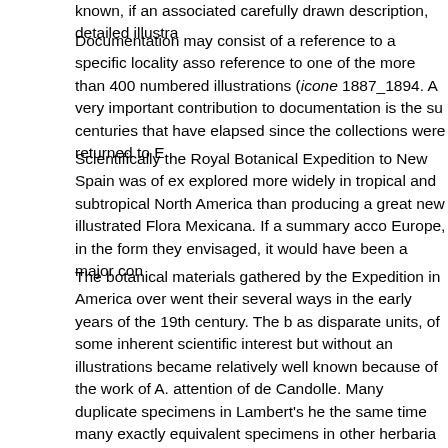known, if an associated carefully drawn description, detailed illustra...
Documentation may consist of a reference to a specific locality asso... reference to one of the more than 400 numbered illustrations (icone... 1887_1894. A very important contribution to documentation is the su... centuries that have elapsed since the collections were returned to E...
Scientifically the Royal Botanical Expedition to New Spain was of ex... explored more widely in tropical and subtropical North America than... producing a great new illustrated Flora Mexicana. If a summary acco... Europe, in the form they envisaged, it would have been a major con...
The botanical materials gathered by the Expedition in America over... went their several ways in the early years of the 19th century. The b... as disparate units, of some inherent scientific interest but without an... illustrations became relatively well known because of the work of A.... attention of de Candolle. Many duplicate specimens in Lambert's he... the same time many exactly equivalent specimens in other herbaria... were in de Candolle's collection in Geneva) and the duplicate speci... herbaria) was not well understood. The original herbarium of Sessé... after 1935. It was not generally realized until some years after the p... many hundreds, if not thousands of supposedly new names (in fact... 1929_1933). There has never been an effort to bring all this materia... whole.